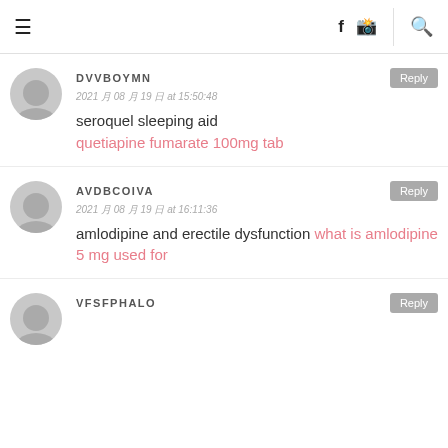≡  f  🎥  🔍
DVVBOYMN
2021 月 08 月 19 日 at 15:50:48
seroquel sleeping aid quetiapine fumarate 100mg tab
AVDBCOIVA
2021 月 08 月 19 日 at 16:11:36
amlodipine and erectile dysfunction what is amlodipine 5 mg used for
VFSFPHALO